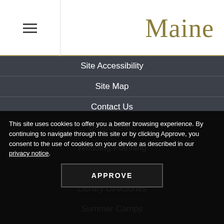Maine
Site Accessibility
Site Map
Contact Us
Unsubscribe
Wedding Planning
Universities & Colleges
Library Directories
Summer Camps
Maine Film Office
Media Room & Travel Trade
Partner Login
Tourism Partners
Maine Is For Meetings
This site uses cookies to offer you a better browsing experience. By continuing to navigate through this site or by clicking Approve, you consent to the use of cookies on your device as described in our privacy notice.
APPROVE